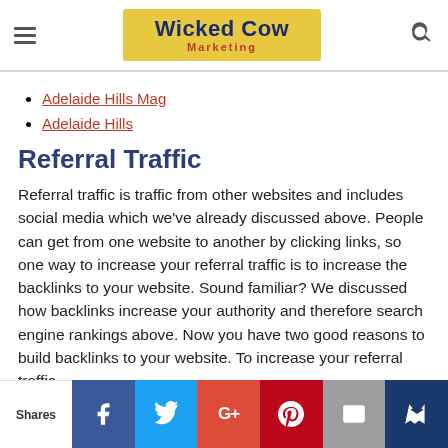Wicked Cow Marketing
Adelaide Hills Mag
Adelaide Hills
Referral Traffic
Referral traffic is traffic from other websites and includes social media which we've already discussed above. People can get from one website to another by clicking links, so one way to increase your referral traffic is to increase the backlinks to your website. Sound familiar? We discussed how backlinks increase your authority and therefore search engine rankings above. Now you have two good reasons to build backlinks to your website. To increase your referral traffic
Shares | Facebook | Twitter | Google+ | Pinterest | Email | Crown